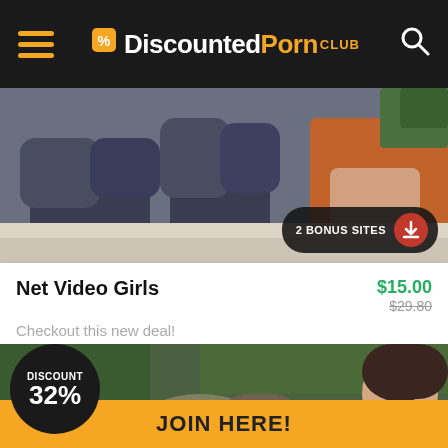DiscountedPorn CLUB
[Figure (photo): Product thumbnail image showing people seated on a couch, with '2 BONUS SITES' badge overlay in bottom right]
Net Video Girls
$15.00
$29.80
Checkout this new deal!
BUY NOW
VIEW DEAL
[Figure (photo): Second product thumbnail showing outdoor nature scene with people near water]
DISCOUNT 32%
JOIN HERE!